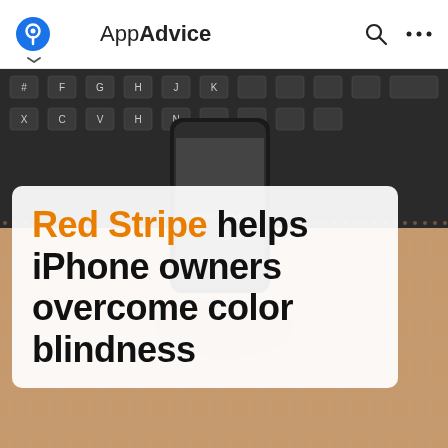AppAdvice
[Figure (photo): Photo of a hand holding an iPhone in front of a keyboard, with dotted/halftone overlay effect in warm tones]
Red Stripe helps iPhone owners overcome color blindness